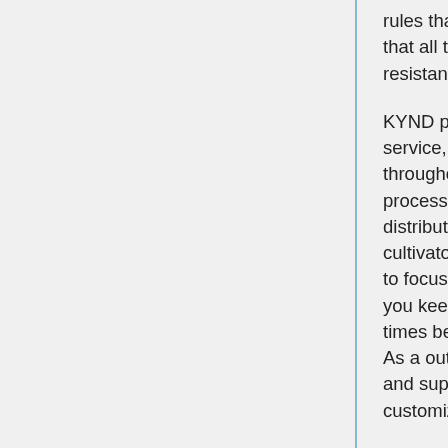rules that took effect from January 2020 mandated that all the merchandise should be in a licensed child-resistant container.
KYND prides itself on offering wonderful customer service, while paying attention to the small print throughout the whole packaging manufacturing processes. We handle the sourcing, production, and distribution processes for a quantity of nationwide cultivators and dispensaries offering them the freedom to focus on their operations. The help we offer helps you keep an accurate flow of packaging, so you'll at all times be on-budget and by no means out of inventory. As a outcome, cultivators, dispensaries, distributors and suppliers trust us to associate with them for their customized marijuana packaging wants. As with any